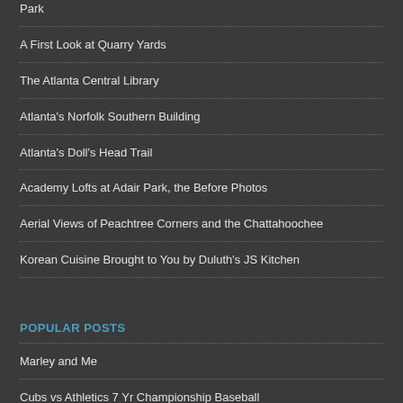Park
A First Look at Quarry Yards
The Atlanta Central Library
Atlanta's Norfolk Southern Building
Atlanta's Doll's Head Trail
Academy Lofts at Adair Park, the Before Photos
Aerial Views of Peachtree Corners and the Chattahoochee
Korean Cuisine Brought to You by Duluth's JS Kitchen
POPULAR POSTS
Marley and Me
Cubs vs Athletics 7 Yr Championship Baseball
Fowler Family Celebration of Love